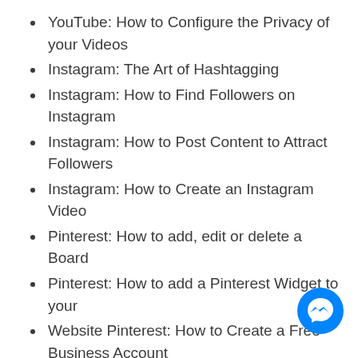YouTube: How to Configure the Privacy of your Videos
Instagram: The Art of Hashtagging
Instagram: How to Find Followers on Instagram
Instagram: How to Post Content to Attract Followers
Instagram: How to Create an Instagram Video
Pinterest: How to add, edit or delete a Board
Pinterest: How to add a Pinterest Widget to your
Website Pinterest: How to Create a Free Business Account
Pinterest: How to apply for Rich Pins
Twitter: How to Get Followers
Twitter: How to Post Quality Tweets
Twitter: The art of Hashtagging
Twitter: How to customize your Twitter background
Twitter: How to Promote your Tweets...